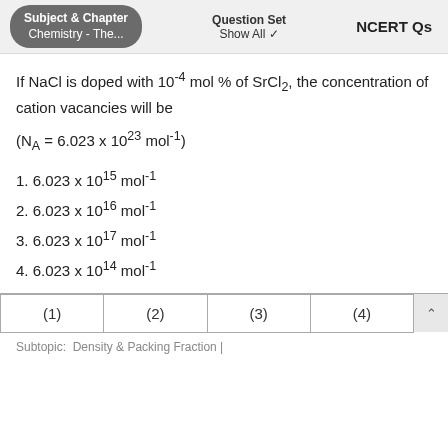Subject & Chapter: Chemistry - The... | Question Set: Show All | NCERT Qs
If NaCl is doped with 10⁻⁴ mol % of SrCl₂, the concentration of cation vacancies will be
(N_A = 6.023 x 10²³ mol⁻¹)
1. 6.023 x 10¹⁵ mol⁻¹
2. 6.023 x 10¹⁶ mol⁻¹
3. 6.023 x 10¹⁷ mol⁻¹
4. 6.023 x 10¹⁴ mol⁻¹
| (1) | (2) | (3) | (4) |
| --- | --- | --- | --- |
Subtopic:  Density & Packing Fraction |